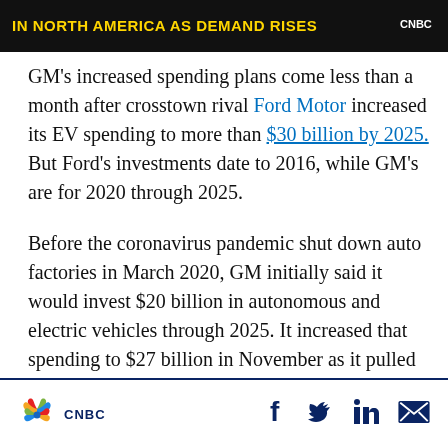[Figure (screenshot): Dark banner with yellow text reading 'IN NORTH AMERICA AS DEMAND RISES' and CNBC logo top right]
GM's increased spending plans come less than a month after crosstown rival Ford Motor increased its EV spending to more than $30 billion by 2025. But Ford's investments date to 2016, while GM's are for 2020 through 2025.
Before the coronavirus pandemic shut down auto factories in March 2020, GM initially said it would invest $20 billion in autonomous and electric vehicles through 2025. It increased that spending to $27 billion in November as it pulled ahead vehicle programs and accelerated battery
CNBC | f  Twitter  in  mail